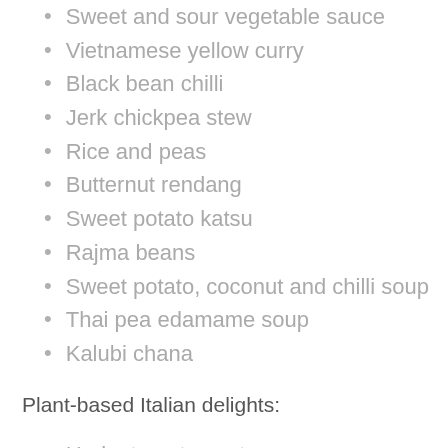Sweet and sour vegetable sauce
Vietnamese yellow curry
Black bean chilli
Jerk chickpea stew
Rice and peas
Butternut rendang
Sweet potato katsu
Rajma beans
Sweet potato, coconut and chilli soup
Thai pea edamame soup
Kalubi chana
Plant-based Italian delights:
Herby tomato pasta sauce
Ratatouille
Cauliflower alfredo
Lentil ragu
Caponata